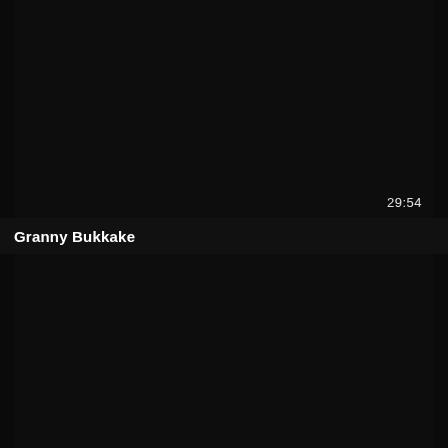[Figure (screenshot): Dark/black video thumbnail with timestamp 29:54 in bottom right corner]
29:54
Granny Bukkake
[Figure (screenshot): Dark/black video thumbnail]